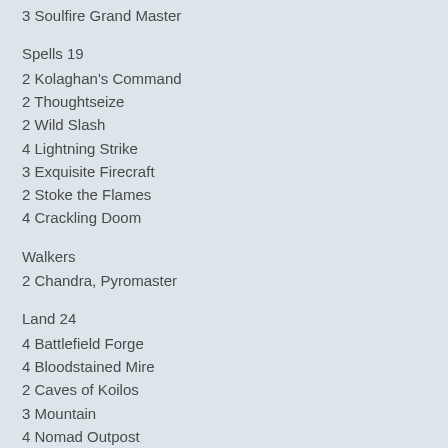3 Soulfire Grand Master
Spells 19
2 Kolaghan's Command
2 Thoughtseize
2 Wild Slash
4 Lightning Strike
3 Exquisite Firecraft
2 Stoke the Flames
4 Crackling Doom
Walkers
2 Chandra, Pyromaster
Land 24
4 Battlefield Forge
4 Bloodstained Mire
2 Caves of Koilos
3 Mountain
4 Nomad Outpost
1 Swamp
3 Temple of Silence
3 Temple of Triumph
Sideboard 15